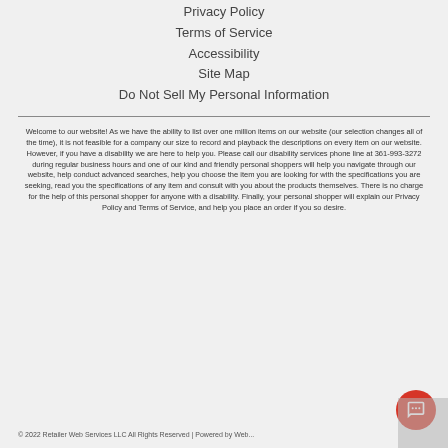Privacy Policy
Terms of Service
Accessibility
Site Map
Do Not Sell My Personal Information
Welcome to our website! As we have the ability to list over one million items on our website (our selection changes all of the time), it is not feasible for a company our size to record and playback the descriptions on every item on our website. However, if you have a disability we are here to help you. Please call our disability services phone line at 361-993-3272 during regular business hours and one of our kind and friendly personal shoppers will help you navigate through our website, help conduct advanced searches, help you choose the item you are looking for with the specifications you are seeking, read you the specifications of any item and consult with you about the products themselves. There is no charge for the help of this personal shopper for anyone with a disability. Finally, your personal shopper will explain our Privacy Policy and Terms of Service, and help you place an order if you so desire.
© 2022 Retailer Web Services LLC All Rights Reserved | Powered by Web...